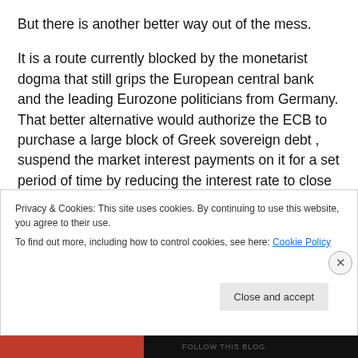But there is another better way out of the mess.
It is a route currently blocked by the monetarist dogma that still grips the European central bank and the leading Eurozone politicians from Germany. That better alternative would authorize the ECB to purchase a large block of Greek sovereign debt , suspend the market interest payments on it for a set period of time by reducing the interest rate to close to zero and undertake the operation by temporarily expanding the broadly defined money stock M2 which as of December 2011 stood at 8673.2 billion
Privacy & Cookies: This site uses cookies. By continuing to use this website, you agree to their use.
To find out more, including how to control cookies, see here: Cookie Policy
Close and accept